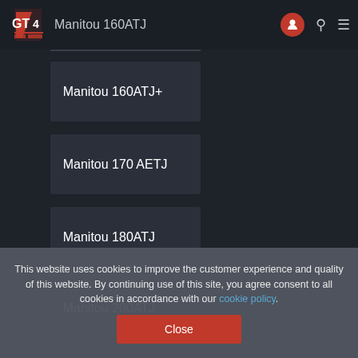GT4 | Manitou 160ATJ
Manitou 160ATJ+
Manitou 170 AETJ
Manitou 180ATJ
Manitou 200ATJ
This website uses cookies to improve the customer experience and quality of this website. By continuing use of this site, you agree consent to all cookies in accordance with our cookie policy.